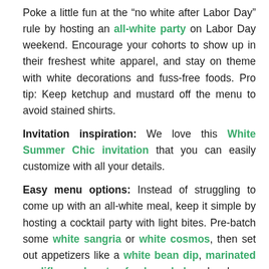Poke a little fun at the “no white after Labor Day” rule by hosting an all-white party on Labor Day weekend. Encourage your cohorts to show up in their freshest white apparel, and stay on theme with white decorations and fuss-free foods. Pro tip: Keep ketchup and mustard off the menu to avoid stained shirts.
Invitation inspiration: We love this White Summer Chic invitation that you can easily customize with all your details.
Easy menu options: Instead of struggling to come up with an all-white meal, keep it simple by hosting a cocktail party with light bites. Pre-batch some white sangria or white cosmos, then set out appetizers like a white bean dip, marinated cauliflower, hearts of palm salad, and a cheese plate. (Sorry, cheddar, you’re not invited!)
Decorating ideas: Make your life easy by ordering a